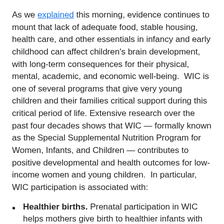As we explained this morning, evidence continues to mount that lack of adequate food, stable housing, health care, and other essentials in infancy and early childhood can affect children's brain development, with long-term consequences for their physical, mental, academic, and economic well-being.  WIC is one of several programs that give very young children and their families critical support during this critical period of life. Extensive research over the past four decades shows that WIC — formally known as the Special Supplemental Nutrition Program for Women, Infants, and Children — contributes to positive developmental and health outcomes for low-income women and young children.  In particular, WIC participation is associated with:
Healthier births. Prenatal participation in WIC helps mothers give birth to healthier infants with higher birth weights.  WIC participation also helps lower infant mortality.  For example, a recent Ohio study found lower infant mortality among WIC participants than non-